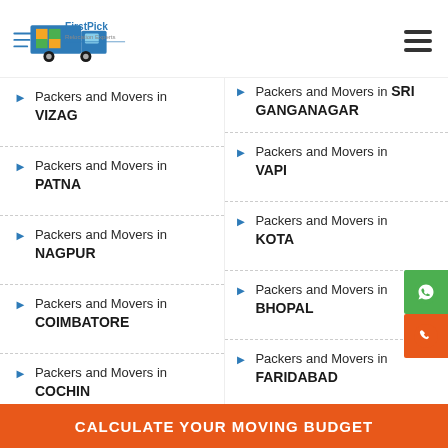FirstPick Relocation Experts
Packers and Movers in VIZAG
Packers and Movers in PATNA
Packers and Movers in NAGPUR
Packers and Movers in COIMBATORE
Packers and Movers in COCHIN
Packers and Movers in (partial)
Packers and Movers in SRI GANGANAGAR
Packers and Movers in VAPI
Packers and Movers in KOTA
Packers and Movers in BHOPAL
Packers and Movers in FARIDABAD
Packers and Movers in Bhubaneswar
CALCULATE YOUR MOVING BUDGET